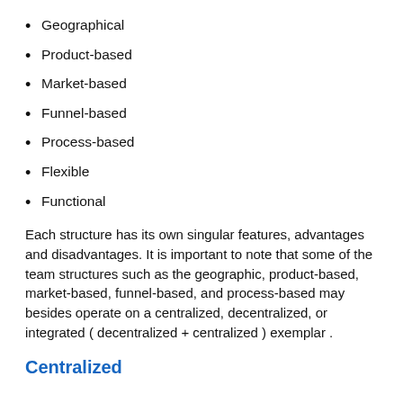Geographical
Product-based
Market-based
Funnel-based
Process-based
Flexible
Functional
Each structure has its own singular features, advantages and disadvantages. It is important to note that some of the team structures such as the geographic, product-based, market-based, funnel-based, and process-based may besides operate on a centralized, decentralized, or integrated ( decentralized + centralized ) exemplar .
Centralized